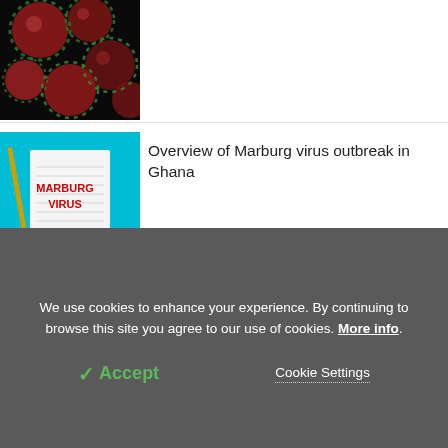[Figure (photo): Partial view of virus/pathogen microscopy image - red/pink spherical virus particles with green spikes on dark background]
[Figure (photo): Marburg virus notebook image - notepad with MARBURG VIRUS written in red text, teal/blue background, pen and blue gloved hand]
Overview of Marburg virus outbreak in Ghana
[Figure (photo): Pregnant woman in grey shirt holding her belly - close up of pregnant abdomen]
Clinicopathological correlations and obstetric management of pregnant women with monkeypox virus infection
We use cookies to enhance your experience. By continuing to browse this site you agree to our use of cookies. More info.
✓ Accept
Cookie Settings